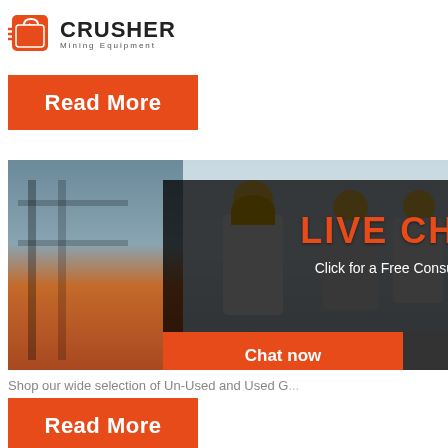[Figure (logo): Crusher Mining Equipment logo with red shopping bag icon and bold text CRUSHER with Mining Equipment subtitle]
[Figure (illustration): Orange Read More button]
[Figure (photo): Photo collage of mining/industrial workers in yellow hard hats with live chat overlay popup showing LIVE CHAT, Click for a Free Consultation, Chat now and Chat later buttons]
Used
[Figure (infographic): 24Hrs Online banner with customer service agent photo]
Shop our wide selection of Un-Used and Used G...
[Figure (illustration): Orange Read More button]
[Figure (infographic): Dark sidebar with Need questions & suggestion? Chat Now button, Enquiry link, and limingjlmofen@sina.com email]